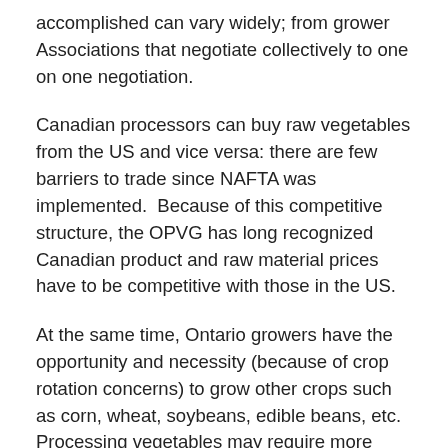accomplished can vary widely; from grower Associations that negotiate collectively to one on one negotiation.
Canadian processors can buy raw vegetables from the US and vice versa: there are few barriers to trade since NAFTA was implemented.  Because of this competitive structure, the OPVG has long recognized Canadian product and raw material prices have to be competitive with those in the US.
At the same time, Ontario growers have the opportunity and necessity (because of crop rotation concerns) to grow other crops such as corn, wheat, soybeans, edible beans, etc.  Processing vegetables may require more labour, specialized equipment, and production knowledge than the more traditional grain and oilseed crops.  It is relatively easy to switch to these traditional crops, so processing vegetables also need to be priced to compete with them for land (as is